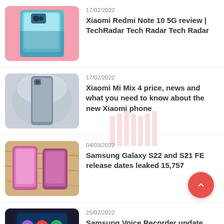17/02/2022 | Xiaomi Redmi Note 10 5G review | TechRadar Tech Radar Tech Radar
17/02/2022 | Xiaomi Mi Mix 4 price, news and what you need to know about the new Xiaomi phone
04/03/2022 | Samsung Galaxy S22 and S21 FE release dates leaked 15,757
25/02/2022 | Samsung Voice Recorder update brings lockscreen widget, multi-column UI - SamMobile
02/03/2022